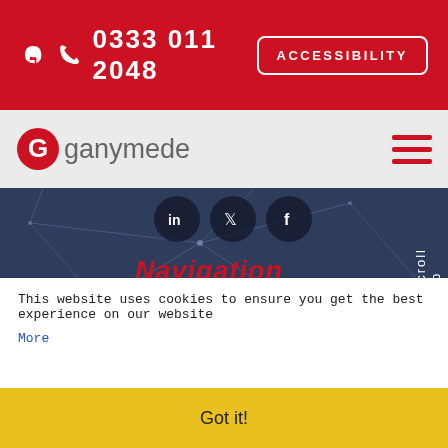0333 011 2048  ACCESSIBILITY
[Figure (logo): Ganymede logo with red G icon and grey 'ganymede' text, plus hamburger menu icon]
[Figure (screenshot): Dark blue network/tech background with social media icons (LinkedIn, Twitter, Facebook), Navigation heading in red italic, nav links: About, Job Search, Clients, Safety & Wellbeing Hub, News, and a scroll up indicator]
Navigation
About
Job Search
Clients
Safety & Wellbeing Hub
News
This website uses cookies to ensure you get the best experience on our website
More
Got it!